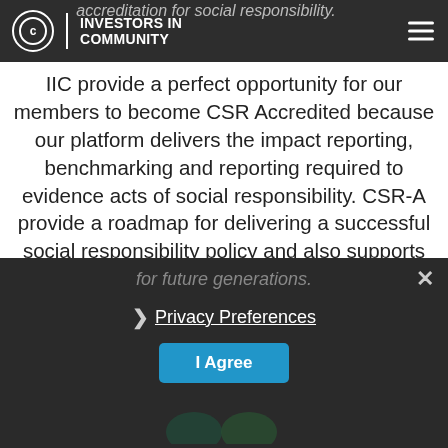accreditation for social responsibility. INVESTORS IN COMMUNITY
IIC provide a perfect opportunity for our members to become CSR Accredited because our platform delivers the impact reporting, benchmarking and reporting required to evidence acts of social responsibility. CSR-A provide a roadmap for delivering a successful social responsibility policy and also supports IIC with CSR Training, workshops and producing social impact reports. Together IIC and CSR-A are building a movement for good which will deliver a positive legacy for future generations.
Privacy Preferences
I Agree